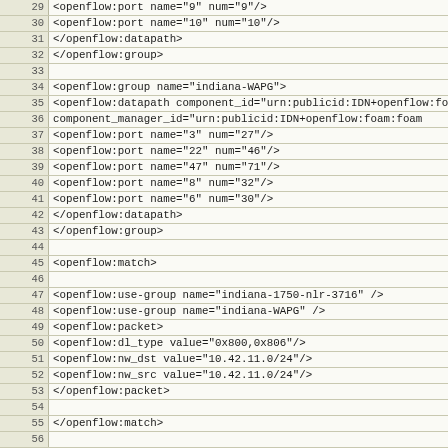XML/code listing lines 29-57 showing openflow XML configuration with groups, datapaths, ports, match elements, use-group, and packet filters.